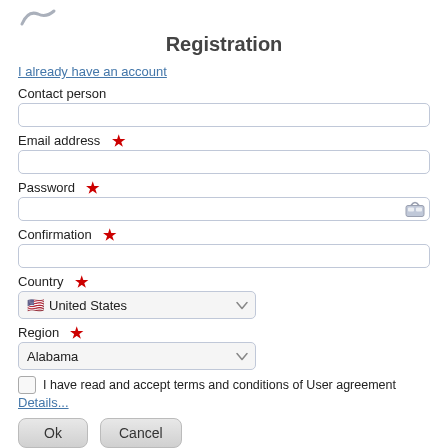[Figure (logo): Small logo icon at top left]
Registration
I already have an account
Contact person
Email address *
Password *
Confirmation *
Country *
United States
Region *
Alabama
I have read and accept terms and conditions of User agreement
Details...
Ok
Cancel